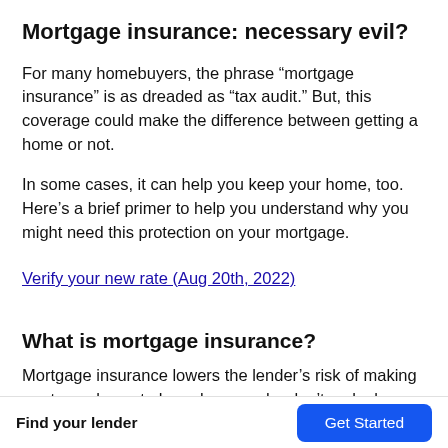Mortgage insurance: necessary evil?
For many homebuyers, the phrase “mortgage insurance” is as dreaded as “tax audit.” But, this coverage could make the difference between getting a home or not.
In some cases, it can help you keep your home, too. Here’s a brief primer to help you understand why you might need this protection on your mortgage.
Verify your new rate (Aug 20th, 2022)
What is mortgage insurance?
Mortgage insurance lowers the lender’s risk of making mortgage loans to homebuyers who don’t make large down
Find your lender   Get Started